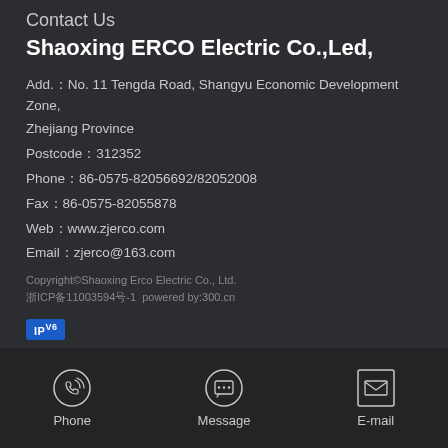Contact Us
Shaoxing ERCO Electric Co.,Led,
Add.：No. 11 Tengda Road, Shangyu Economic Development Zone, Zhejiang Province
Postcode：312352
Phone：86-0575-82056692/82052008
Fax：86-0575-82055878
Web：www.zjerco.com
Email：zjerco@163.com
Copyright©Shaoxing Erco Electric Co., Ltd. 浙ICP备11003594号-1  powered by:300.cn
[Figure (logo): IPv6 badge — blue rectangle with text 'IPV6']
[Figure (illustration): Three icons at bottom: phone icon labeled 'Phone', chat bubble icon labeled 'Message', envelope icon labeled 'E-mail']